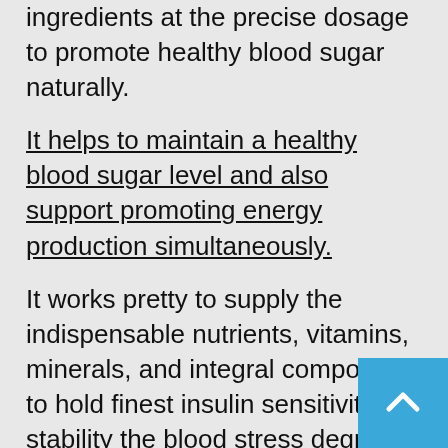ingredients at the precise dosage to promote healthy blood sugar naturally.
It helps to maintain a healthy blood sugar level and also support promoting energy production simultaneously.
It works pretty to supply the indispensable nutrients, vitamins, minerals, and integral compounds to hold finest insulin sensitivity, stability the blood stress degree and ldl cholesterol stage better.
Need To Know More About Blood Sugar Blaster ? Click Here
Experience deeper intellectual and bodily leisure that improves intelligence fitness reduces inflammation neuropathy pain, and different signs to make you fall